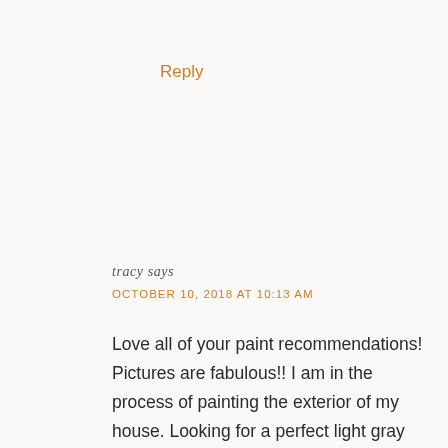Reply
tracy says
OCTOBER 10, 2018 AT 10:13 AM
Love all of your paint recommendations! Pictures are fabulous!! I am in the process of painting the exterior of my house. Looking for a perfect light gray color. I have white trim and black shutters. Any suggestions would be appreciated. Also looking for great door